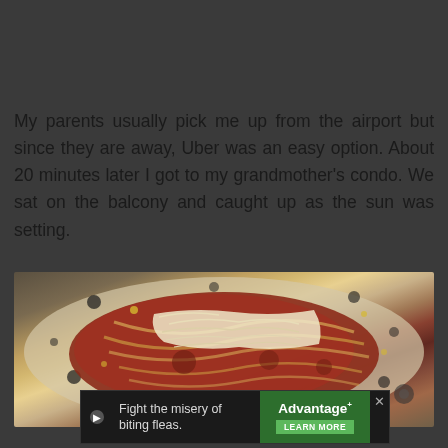My parents usually pick me up from the airport but since they are away, Uber was an easy option. About 20 minutes later I got to my grandmother's condo. We sat on the balcony and caught up as the sun was setting.
[Figure (photo): Close-up photo of a plate of spaghetti with tomato sauce and shredded parmesan cheese on a spotted plate, viewed from above]
[Figure (other): Advertisement banner: 'Fight the misery of biting fleas.' with Advantage II branding and a LEARN MORE button on green background]